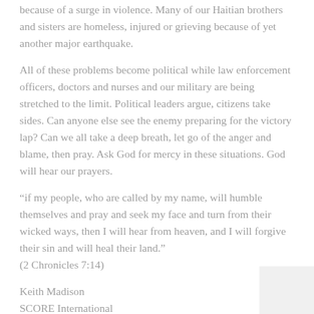because of a surge in violence. Many of our Haitian brothers and sisters are homeless, injured or grieving because of yet another major earthquake.
All of these problems become political while law enforcement officers, doctors and nurses and our military are being stretched to the limit. Political leaders argue, citizens take sides. Can anyone else see the enemy preparing for the victory lap? Can we all take a deep breath, let go of the anger and blame, then pray. Ask God for mercy in these situations. God will hear our prayers.
“if my people, who are called by my name, will humble themselves and pray and seek my face and turn from their wicked ways, then I will hear from heaven, and I will forgive their sin and will heal their land.”
(2 Chronicles 7:14)
Keith Madison
SCORE International